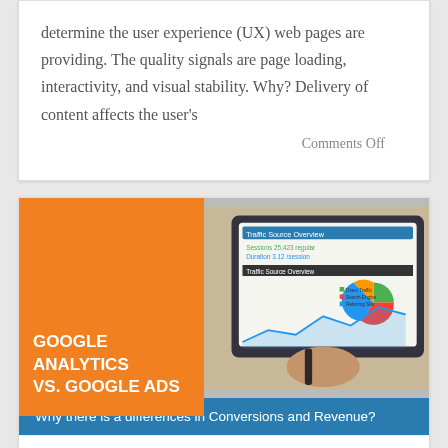determine the user experience (UX) web pages are providing. The quality signals are page loading, interactivity, and visual stability.  Why? Delivery of content affects the user's
Comments Off
[Figure (infographic): Article card image showing Google Analytics vs. Google Ads infographic with orange panel on left containing title text and analytics dashboard photo on right]
Why there is a differences in Conversions and Revenue?
TheSearchGuru FINDING LEADS > CLOSING SALES  #B2B #DigitalMarketing #BackAWord Session